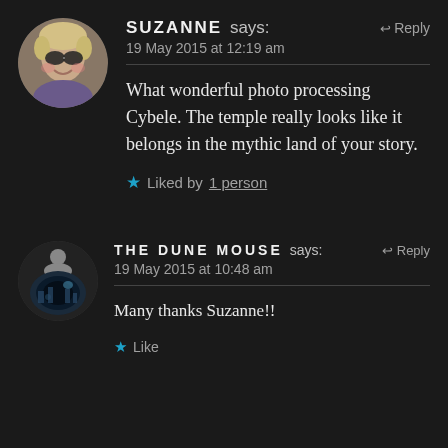[Figure (photo): Circular avatar of Suzanne, an older woman with short blonde hair and dark sunglasses, smiling]
SUZANNE says:
19 May 2015 at 12:19 am
What wonderful photo processing Cybele. The temple really looks like it belongs in the mythic land of your story.
★ Liked by 1 person
[Figure (photo): Circular avatar of The Dune Mouse, showing a reflective/glossy eye-like circular image]
THE DUNE MOUSE says:
19 May 2015 at 10:48 am
Many thanks Suzanne!!
★ Like